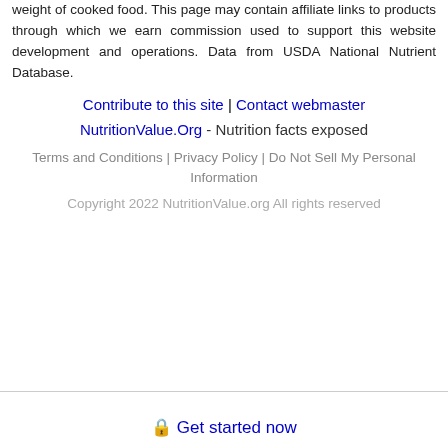weight of cooked food. This page may contain affiliate links to products through which we earn commission used to support this website development and operations. Data from USDA National Nutrient Database.
Contribute to this site | Contact webmaster
NutritionValue.Org - Nutrition facts exposed
Terms and Conditions | Privacy Policy | Do Not Sell My Personal Information
Copyright 2022 NutritionValue.org All rights reserved
🔒 Get started now